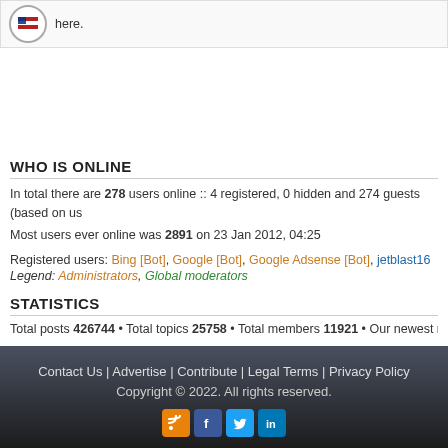here.
WHO IS ONLINE
In total there are 278 users online :: 4 registered, 0 hidden and 274 guests (based on us... Most users ever online was 2891 on 23 Jan 2012, 04:25
Registered users: Bing [Bot], Google [Bot], Google Adsense [Bot], jetblast16
Legend: Administrators, Global moderators
STATISTICS
Total posts 426744 • Total topics 25758 • Total members 11921 • Our newest member na...
Contact Us | Advertise | Contribute | Legal Terms | Privacy Policy
Copyright © 2022. All rights reserved.